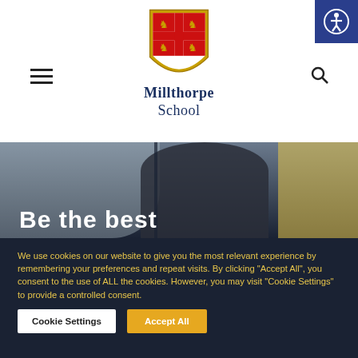[Figure (logo): Millthorpe School crest/shield logo with red and white cross, gold lions, and a gold border, with 'Millthorpe School' text below in dark blue]
[Figure (photo): School scene photograph showing students/person from behind in a school hallway or classroom, with text overlay 'Be the best' in white bold font]
We use cookies on our website to give you the most relevant experience by remembering your preferences and repeat visits. By clicking “Accept All”, you consent to the use of ALL the cookies. However, you may visit "Cookie Settings" to provide a controlled consent.